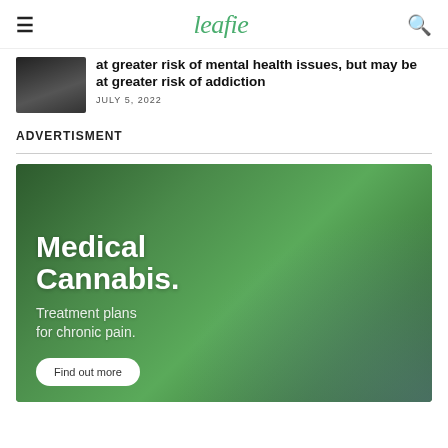leafie
at greater risk of mental health issues, but may be at greater risk of addiction
JULY 5, 2022
ADVERTISMENT
[Figure (photo): Advertisement image for Medical Cannabis with text 'Medical Cannabis. Treatment plans for chronic pain.' and a 'Find out more' button, showing a cannabis plant held by gloved hands against a green background.]